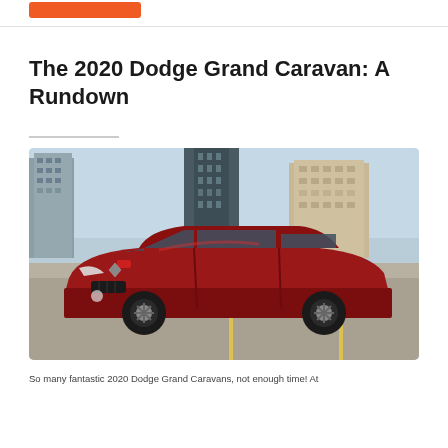The 2020 Dodge Grand Caravan: A Rundown
[Figure (photo): A red 2020 Dodge Grand Caravan minivan photographed on a parking structure rooftop with a city skyline of tall buildings in the background.]
So many fantastic 2020 Dodge Grand Caravans, not enough time! At